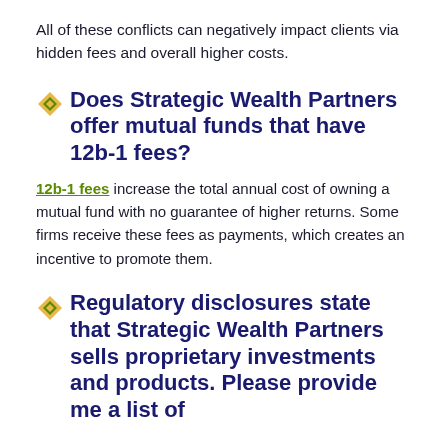All of these conflicts can negatively impact clients via hidden fees and overall higher costs.
Does Strategic Wealth Partners offer mutual funds that have 12b-1 fees?
12b-1 fees increase the total annual cost of owning a mutual fund with no guarantee of higher returns. Some firms receive these fees as payments, which creates an incentive to promote them.
Regulatory disclosures state that Strategic Wealth Partners sells proprietary investments and products. Please provide me a list of